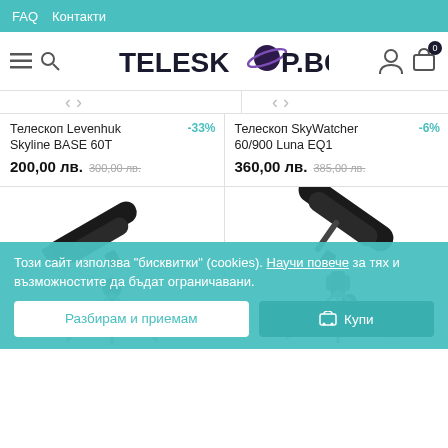FAQ  Контакти
[Figure (logo): TELESKOP.BG logo with stylized planet/ring replacing the 'O']
[Figure (photo): Telescope product image top partial - Levenhuk Skyline BASE 60T]
Телескоп Levenhuk Skyline BASE 60T
-33%
200,00 лв.  300,00 лв.
[Figure (photo): Telescope product image top partial - SkyWatcher 60/900 Luna EQ1]
Телескоп SkyWatcher 60/900 Luna EQ1
-6%
360,00 лв.  385,00 лв.
[Figure (photo): Levenhuk Skyline BASE 60T telescope on tripod]
[Figure (photo): SkyWatcher 60/900 Luna EQ1 telescope on tripod]
Този сайт използва "бисквитки" (cookies). Научи повече за тях и възможностите да бъдат ограничавани.
Разбирам и приемам
Купи